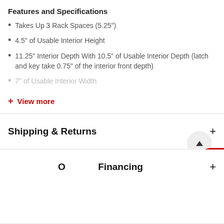Features and Specifications
Takes Up 3 Rack Spaces (5.25")
4.5" of Usable Interior Height
11.25" Interior Depth With 10.5" of Usable Interior Depth (latch and key take 0.75" of the interior front depth)
7" of Usable Interior Width
+ View more
Shipping & Returns
O...Financing